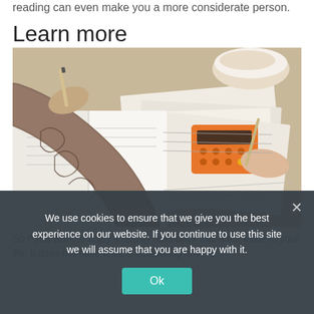reading can even make you a more considerate person.
Learn more
[Figure (photo): Two people at a desk with open notebooks, papers, pens, an orange calculator, and a bowl. One person has a tattooed arm and is writing.]
We use cookies to ensure that we give you the best experience on our website. If you continue to use this site we will assume that you are happy with it.